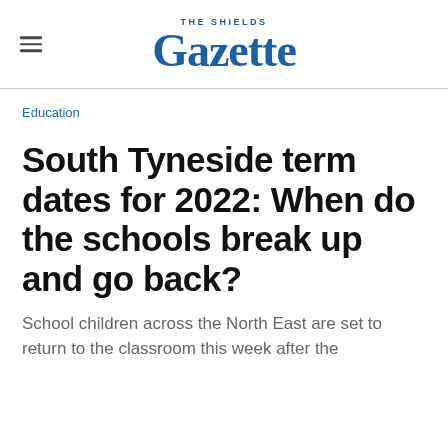THE SHIELDS Gazette
Education
South Tyneside term dates for 2022: When do the schools break up and go back?
School children across the North East are set to return to the classroom this week after the